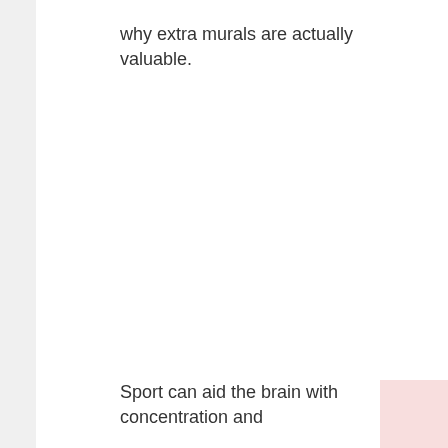why extra murals are actually valuable.
Sport can aid the brain with concentration and